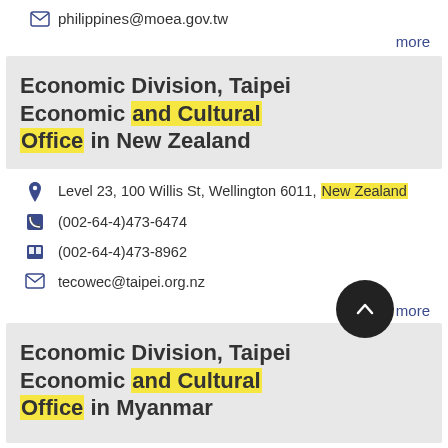philippines@moea.gov.tw
more
Economic Division, Taipei Economic and Cultural Office in New Zealand
Level 23, 100 Willis St, Wellington 6011, New Zealand
(002-64-4)473-6474
(002-64-4)473-8962
tecowec@taipei.org.nz
more
Economic Division, Taipei Economic and Cultural Office in Myanmar
No.97/101A Dhammazedi Road, Kamayut Township, Yangon, Myanmar